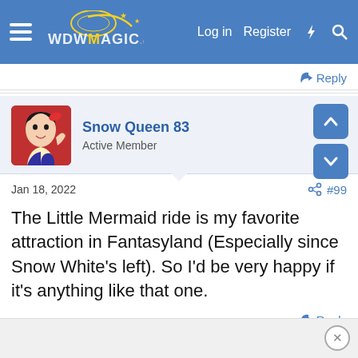WDWMagic — Log in  Register
Reply
Snow Queen 83
Active Member
Jan 18, 2022  #99
The Little Mermaid ride is my favorite attraction in Fantasyland (Especially since Snow White's left). So I'd be very happy if it's anything like that one.
Reply